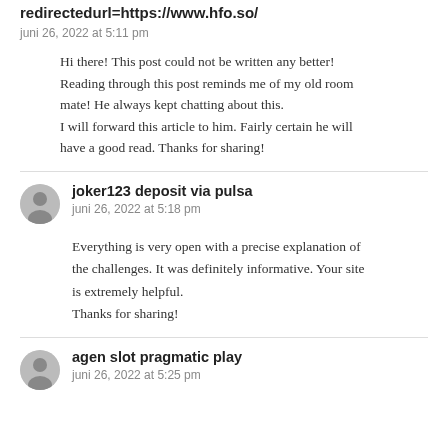redirectedurl=https://www.hfo.so/
juni 26, 2022 at 5:11 pm
Hi there! This post could not be written any better! Reading through this post reminds me of my old room mate! He always kept chatting about this. I will forward this article to him. Fairly certain he will have a good read. Thanks for sharing!
joker123 deposit via pulsa
juni 26, 2022 at 5:18 pm
Everything is very open with a precise explanation of the challenges. It was definitely informative. Your site is extremely helpful. Thanks for sharing!
agen slot pragmatic play
juni 26, 2022 at 5:25 pm